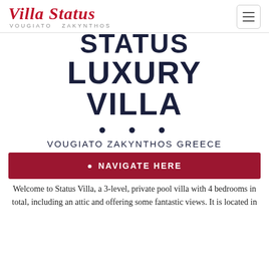Villa Status VOUGIATO ZAKYNTHOS
STATUS LUXURY VILLA
• • •
VOUGIATO ZAKYNTHOS GREECE
NAVIGATE HERE
Welcome to Status Villa, a 3-level, private pool villa with 4 bedrooms in total, including an attic and offering some fantastic views. It is located in